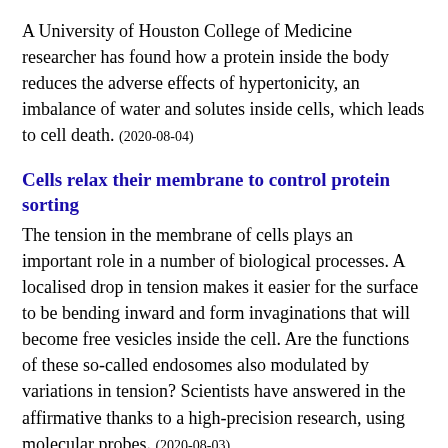A University of Houston College of Medicine researcher has found how a protein inside the body reduces the adverse effects of hypertonicity, an imbalance of water and solutes inside cells, which leads to cell death. (2020-08-04)
Cells relax their membrane to control protein sorting
The tension in the membrane of cells plays an important role in a number of biological processes. A localised drop in tension makes it easier for the surface to be bending inward and form invaginations that will become free vesicles inside the cell. Are the functions of these so-called endosomes also modulated by variations in tension? Scientists have answered in the affirmative thanks to a high-precision research, using molecular probes. (2020-08-03)
Green apple flavor in vapes enhances nicotine reward
A common green apple vape flavor enhances nicotine reward and is also rewarding itself, according to research in